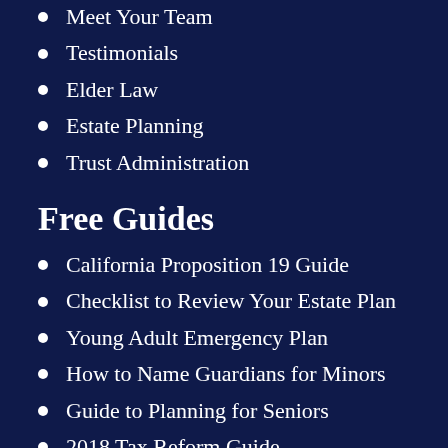Meet Your Team
Testimonials
Elder Law
Estate Planning
Trust Administration
Free Guides
California Proposition 19 Guide
Checklist to Review Your Estate Plan
Young Adult Emergency Plan
How to Name Guardians for Minors
Guide to Planning for Seniors
2018 Tax Reform Guide